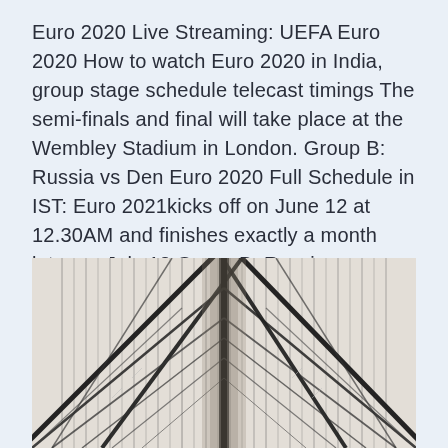Euro 2020 Live Streaming: UEFA Euro 2020 How to watch Euro 2020 in India, group stage schedule telecast timings The semi-finals and final will take place at the Wembley Stadium in London. Group B: Russia vs Den Euro 2020 Full Schedule in IST: Euro 2021kicks off on June 12 at 12.30AM and finishes exactly a month later on July 12 Group B: Russia vs Denmark (12:30 am IST, Copenhagen) UEFA Euro 2020 Semi-Finals Schedule:.
[Figure (photo): Black and white photograph showing an abstract view of diagonal and vertical cables or wires crossing each other, resembling a suspension bridge structure viewed close up.]